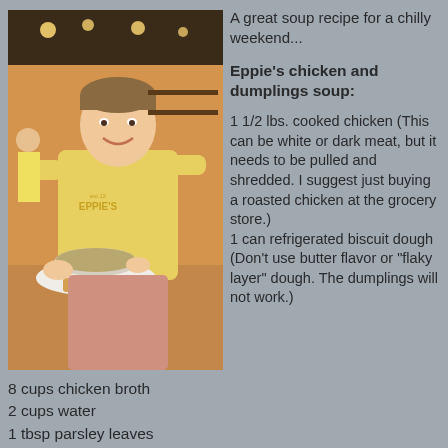[Figure (photo): Young man in yellow Eppie's t-shirt smiling and holding a plate with a bowl of soup and a biscuit, standing inside a restaurant kitchen.]
A great soup recipe for a chilly weekend...
Eppie's chicken and dumplings soup:
1 1/2 lbs. cooked chicken (This can be white or dark meat, but it needs to be pulled and shredded. I suggest just buying a roasted chicken at the grocery store.)
1 can refrigerated biscuit dough (Don't use butter flavor or "flaky layer" dough. The dumplings will not work.)
8 cups chicken broth
2 cups water
1 tbsp parsley leaves
1/4 cup dried onion flakes
1/2 tsp black pepper